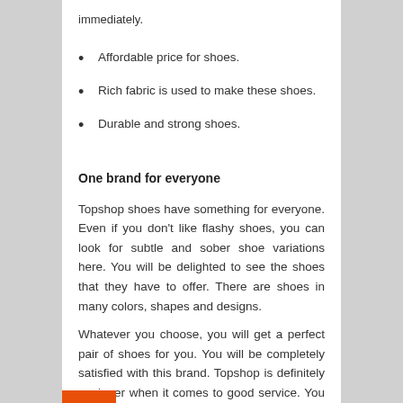immediately.
Affordable price for shoes.
Rich fabric is used to make these shoes.
Durable and strong shoes.
One brand for everyone
Topshop shoes have something for everyone. Even if you don’t like flashy shoes, you can look for subtle and sober shoe variations here. You will be delighted to see the shoes that they have to offer. There are shoes in many colors, shapes and designs.
Whatever you choose, you will get a perfect pair of shoes for you. You will be completely satisfied with this brand. Topshop is definitely a winner when it comes to good service. You can be sure to get a lot of beautiful shoes from this brand.